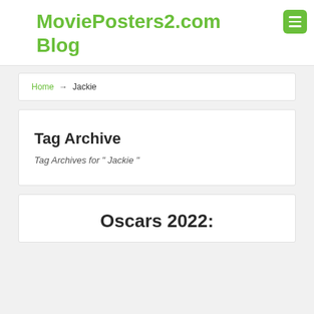MoviePosters2.com Blog
Home → Jackie
Tag Archive
Tag Archives for " Jackie "
Oscars 2022: